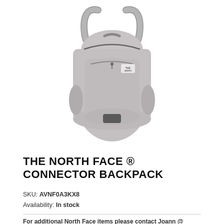[Figure (photo): A gray The North Face Connector Backpack shown from the front at a slight angle, with shoulder straps, multiple compartments, and The North Face logo patch visible.]
THE NORTH FACE ® CONNECTOR BACKPACK
SKU: AVNF0A3KX8
Availability: In stock
For additional North Face items please contact Joann @